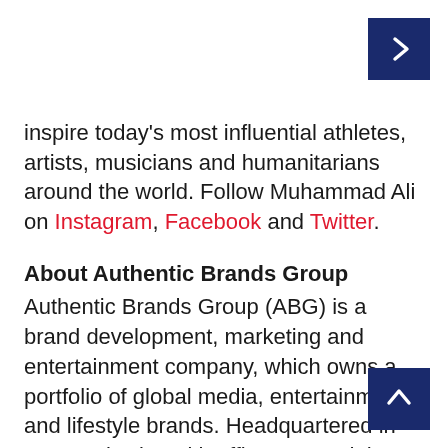inspire today's most influential athletes, artists, musicians and humanitarians around the world. Follow Muhammad Ali on Instagram, Facebook and Twitter.
About Authentic Brands Group
Authentic Brands Group (ABG) is a brand development, marketing and entertainment company, which owns a portfolio of global media, entertainment and lifestyle brands. Headquartered in New York City, with offices around the world, ABG elevates and builds the long-term value of more than 50 consumer brands and properties by partnering with best-in-class manufacturers, wholesalers and retailers brands have a global retail footprint across the